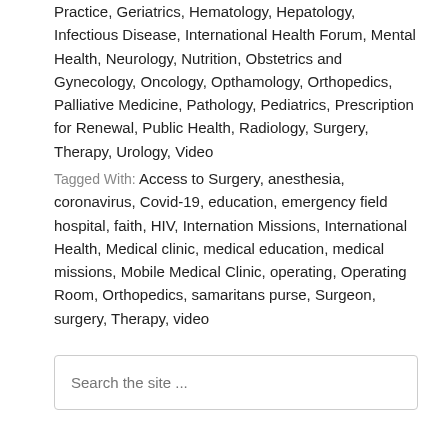Practice, Geriatrics, Hematology, Hepatology, Infectious Disease, International Health Forum, Mental Health, Neurology, Nutrition, Obstetrics and Gynecology, Oncology, Opthamology, Orthopedics, Palliative Medicine, Pathology, Pediatrics, Prescription for Renewal, Public Health, Radiology, Surgery, Therapy, Urology, Video
Tagged With: Access to Surgery, anesthesia, coronavirus, Covid-19, education, emergency field hospital, faith, HIV, Internation Missions, International Health, Medical clinic, medical education, medical missions, Mobile Medical Clinic, operating, Operating Room, Orthopedics, samaritans purse, Surgeon, surgery, Therapy, video
Search the site ...